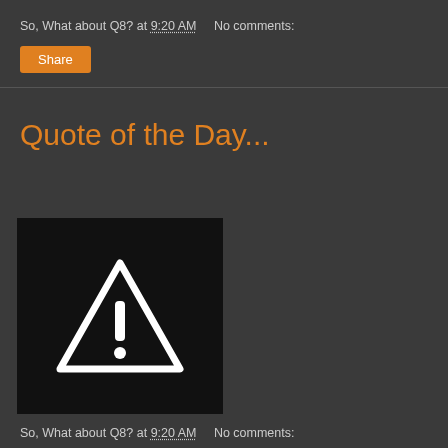So, What about Q8? at 9:20 AM   No comments:
Share
Quote of the Day...
[Figure (illustration): Black square image with a white warning/caution triangle icon containing an exclamation mark]
So, What about Q8? at 9:20 AM   No comments: